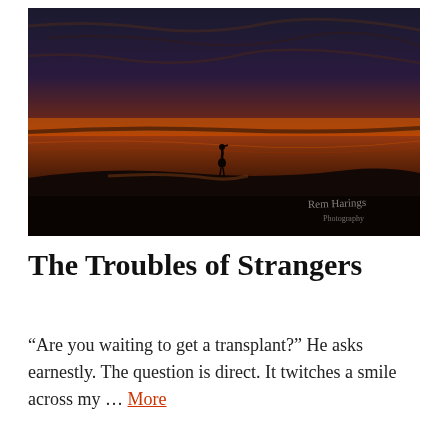[Figure (photo): A dark seascape photograph at sunset or dusk. The sky is vivid orange and red near the horizon, fading to dark blue above with wispy clouds. A calm body of water reflects the warm colors. A lone bird (heron or egret) stands silhouetted on a dark sandy beach in the middle distance. The foreground is very dark sand. A photographer watermark in cursive script reads 'Rem Harings Photography' in the lower right corner.]
The Troubles of Strangers
“Are you waiting to get a transplant?” He asks earnestly. The question is direct. It twitches a smile across my … More